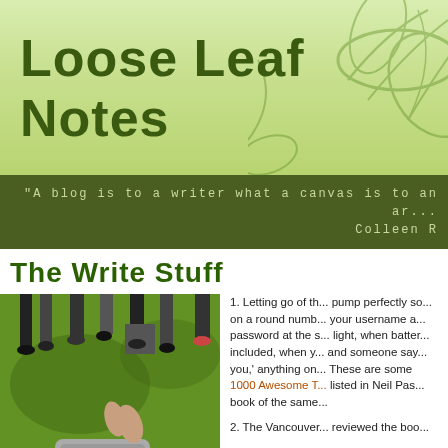Loose Leaf Notes
"A blog is to a writer what a canvas is to an ar... Colleen R
The Write Stuff
[Figure (photo): People standing on grass viewed from above, with someone lying on the ground wearing gray patterned clothing]
1. Letting go of th... pump perfectly so... on a round numb... your username a... password at the s... light, when batter... included, when y... and someone say... you,' anything on... These are some ... 1000 Awesome T... listed in Neil Pas... book of the same...

2. The Vancouver... reviewed the boo...